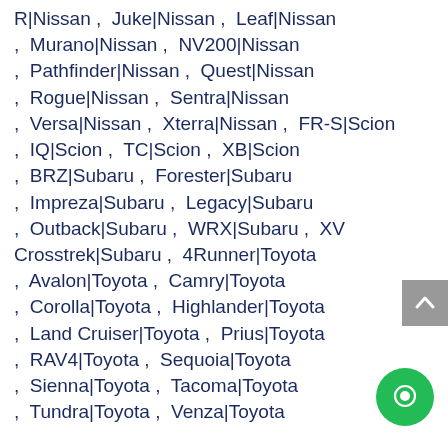R|Nissan , Juke|Nissan , Leaf|Nissan , Murano|Nissan , NV200|Nissan , Pathfinder|Nissan , Quest|Nissan , Rogue|Nissan , Sentra|Nissan , Versa|Nissan , Xterra|Nissan , FR-S|Scion , IQ|Scion , TC|Scion , XB|Scion , BRZ|Subaru , Forester|Subaru , Impreza|Subaru , Legacy|Subaru , Outback|Subaru , WRX|Subaru , XV Crosstrek|Subaru , 4Runner|Toyota , Avalon|Toyota , Camry|Toyota , Corolla|Toyota , Highlander|Toyota , Land Cruiser|Toyota , Prius|Toyota , RAV4|Toyota , Sequoia|Toyota , Sienna|Toyota , Tacoma|Toyota , Tundra|Toyota , Venza|Toyota